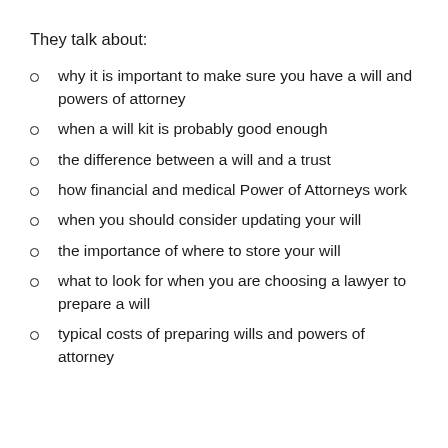They talk about:
why it is important to make sure you have a will and powers of attorney
when a will kit is probably good enough
the difference between a will and a trust
how financial and medical Power of Attorneys work
when you should consider updating your will
the importance of where to store your will
what to look for when you are choosing a lawyer to prepare a will
typical costs of preparing wills and powers of attorney